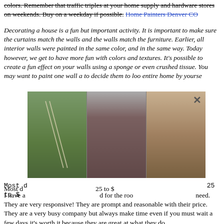colors. Remember that traffic triples at your home supply and hardware stores on weekends. Buy on a weekday if possible. Home Painters Denver CO
Decorating a house is a fun but important activity. It is important to make sure the curtains match the walls and the walls match the furniture. Earlier, all interior walls were painted in the same color, and in the same way. Today however, we get to have more fun with colors and textures. It's possible to create a fun effect on your walls using a sponge or even crushed tissue. You may want to paint one wall a different color than the rest. You may also want to decide on a certain theme for your home and decorate them to look accordingly. You can also choose to decorate your entire home in a certain style. You may want to do this by yourself or you may want to hire a professional.
[Figure (photo): Three-panel photo overlay showing people falling off ladders near houses, with a close button (X) in the top right corner]
Most d... 25 to $...
I have a... d for the roo... need. They are very responsive! They are prompt and reasonable with their price. They are a very busy company but always make time even if you must wait a few days it's worth it because they are great at what they do.
I have been using them for over 7 years and am very happy! Thank you